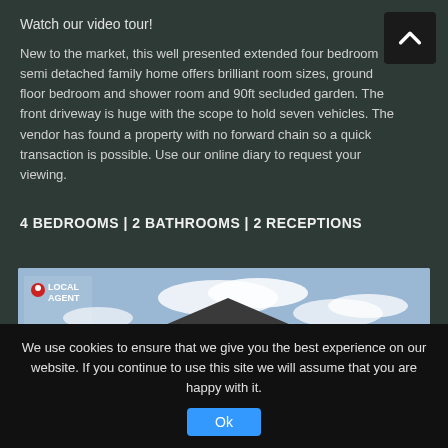Watch our video tour!
New to the market, this well presented extended four bedroom semi detached family home offers brilliant room sizes, ground floor bedroom and shower room and 90ft secluded garden. The front driveway is huge with the scope to hold seven vehicles. The vendor has found a property with no forward chain so a quick transaction is possible. Use our online diary to request your viewing.
4 BEDROOMS | 2 BATHROOMS | 2 RECEPTIONS
[Figure (photo): Exterior photo of a semi-detached house with dark tile roof, light beige/cream render walls, multiple windows, large driveway. LOCAL AGENT branding visible in top-left corner with text VIRTUAL TOUR AVAILABLE below.]
We use cookies to ensure that we give you the best experience on our website. If you continue to use this site we will assume that you are happy with it.